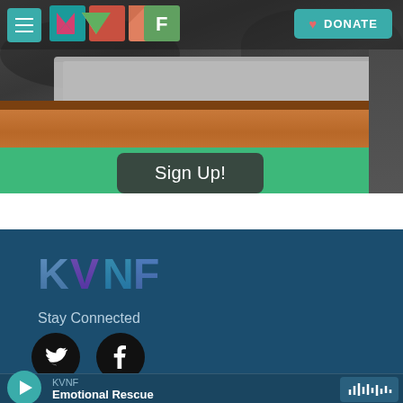KVNF — Navigation header with hamburger menu, KVNF logo, and DONATE button
[Figure (screenshot): Top portion of KVNF website showing a laptop on a wooden desk, rocky background, green area below with a dark Sign Up! button]
Sign Up!
[Figure (logo): KVNF logo in blue/purple tones on dark teal footer background]
Stay Connected
[Figure (illustration): Twitter and Facebook social media icon circles (black circles with white bird/f icons)]
KVNF — Emotional Rescue — player bar with play button and waveform icon